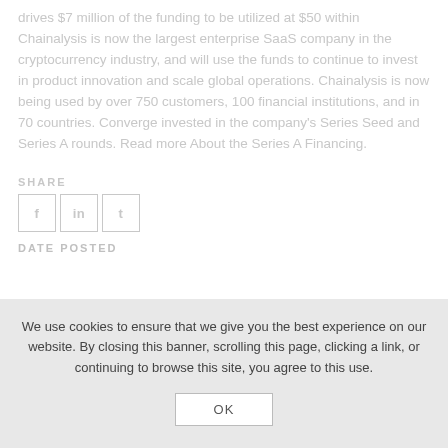drives $7 million of the funding to be utilized at $50 within Chainalysis is now the largest enterprise SaaS company in the cryptocurrency industry, and will use the funds to continue to invest in product innovation and scale global operations. Chainalysis is now being used by over 750 customers, 100 financial institutions, and in 70 countries. Converge invested in the company's Series Seed and Series A rounds. Read more About the Series A Financing.
SHARE
[Figure (other): Social share buttons: three square icon buttons for sharing]
DATE POSTED
We use cookies to ensure that we give you the best experience on our website. By closing this banner, scrolling this page, clicking a link, or continuing to browse this site, you agree to this use.
OK